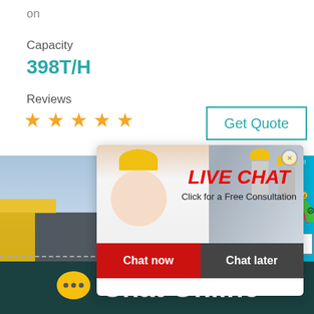on
Capacity
398T/H
Reviews
★ ★ ★ ★ ★
Get Quote
[Figure (photo): Live chat popup overlay with workers in yellow hard hats, showing LIVE CHAT header, Click for a Free Consultation text, Chat now and Chat later buttons]
[Figure (photo): Industrial mining/quarrying equipment photo with yellow crane and conveyor machinery]
[Figure (infographic): Right panel with satisfaction gauge/meter showing emoji faces, teal background, Click me to chat button, and Enquiry label]
Chat Online